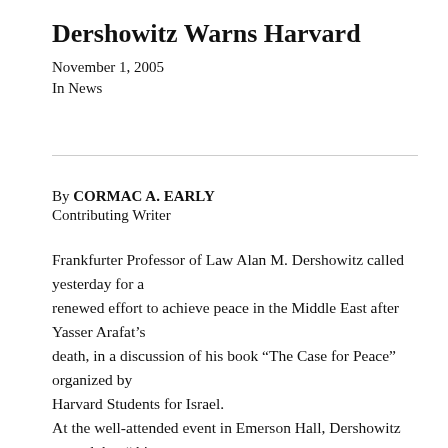Dershowitz Warns Harvard
November 1, 2005
In News
By CORMAC A. EARLY
Contributing Writer
Frankfurter Professor of Law Alan M. Dershowitz called yesterday for a renewed effort to achieve peace in the Middle East after Yasser Arafat’s death, in a discussion of his book “The Case for Peace” organized by Harvard Students for Israel. At the well-attended event in Emerson Hall, Dershowitz argued that “this is a time for Israel to be extremely generous.” He said that Israel’s